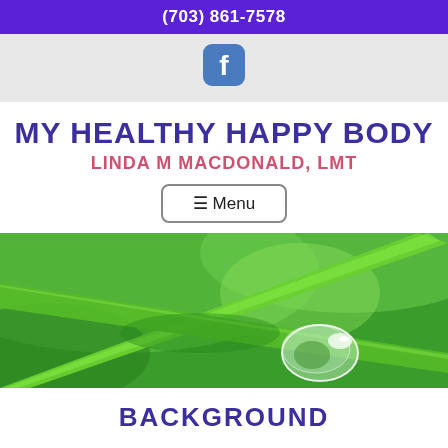(703) 861-7578
[Figure (logo): Facebook icon rounded square]
MY HEALTHY HAPPY BODY
LINDA M MACDONALD, LMT
≡ Menu
[Figure (photo): Close-up photo of green grass blades with a water droplet on a bright green blurred background]
BACKGROUND